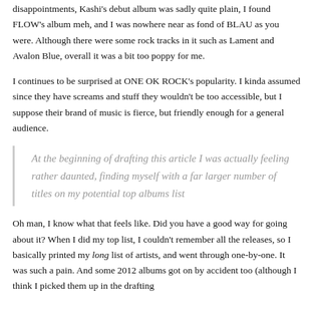disappointments, Kashi's debut album was sadly quite plain, I found FLOW's album meh, and I was nowhere near as fond of BLAU as you were. Although there were some rock tracks in it such as Lament and Avalon Blue, overall it was a bit too poppy for me.
I continues to be surprised at ONE OK ROCK's popularity. I kinda assumed since they have screams and stuff they wouldn't be too accessible, but I suppose their brand of music is fierce, but friendly enough for a general audience.
At the beginning of drafting this article I was actually feeling rather daunted, finding myself with a far larger number of titles on my potential top albums list
Oh man, I know what that feels like. Did you have a good way for going about it? When I did my top list, I couldn't remember all the releases, so I basically printed my long list of artists, and went through one-by-one. It was such a pain. And some 2012 albums got on by accident too (although I think I picked them up in the drafting